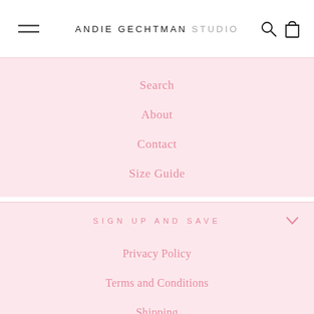ANDIE GECHTMAN STUDIO
Search
About
Contact
Size Guide
SIGN UP AND SAVE
Privacy Policy
Terms and Conditions
Shipping
Refund & Exchange Policy